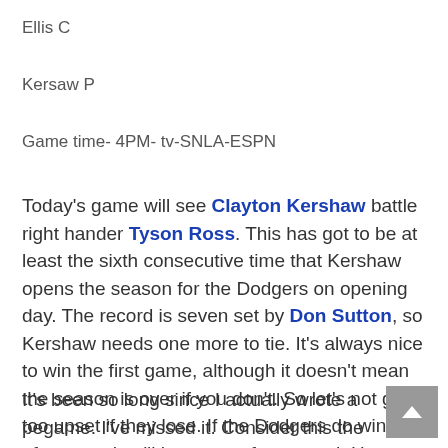Ellis C
Kersaw P
Game time- 4PM- tv-SNLA-ESPN
Today's game will see Clayton Kershaw battle right hander Tyson Ross. This has got to be at least the sixth consecutive time that Kershaw opens the season for the Dodgers on opening day. The record is seven set by Don Sutton, so Kershaw needs one more to tie. It's always nice to win the first game, although it doesn't mean the season is over if you don't. So let's not get too upset if they lose. If the Dodgers do win this afternoon they'll have a perfect record. Honest to goodness guys they will.
It's been so long since I actually wrote a pregame. I've missed it. Consider this the first pre game in